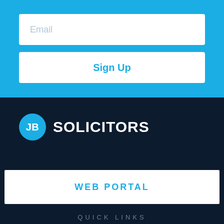Email
Sign Up
[Figure (logo): JB Solicitors logo: blue circle with 'JB' in white text, followed by 'SOLICITORS' in white bold text]
WEB PORTAL
QUICK LINKS
Home